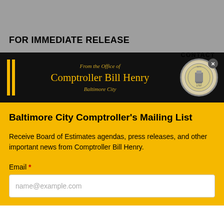FOR IMMEDIATE RELEASE
[Figure (logo): From the Office of Comptroller Bill Henry, Baltimore City — official banner with yellow vertical bars on left and city seal on right]
Baltimore City Comptroller's Mailing List
Receive Board of Estimates agendas, press releases, and other important news from Comptroller Bill Henry.
Email *
name@example.com